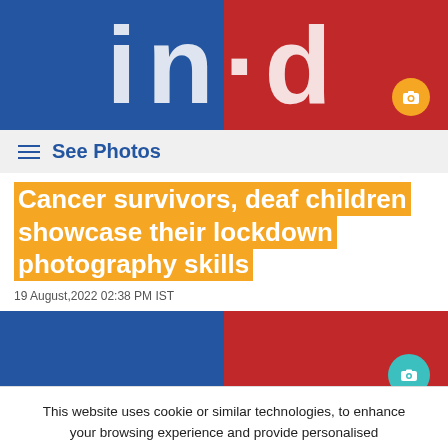[Figure (screenshot): Website header banner with blue and red halves and large white letters 'in·d' with a camera icon in an orange circle at bottom right]
See Photos
Cancer survivors, deaf children showcase their lockdown photography skills
19 August,2022 02:38 PM IST
[Figure (screenshot): Partial second header banner with blue and red halves and a teal circular icon at bottom right]
This website uses cookie or similar technologies, to enhance your browsing experience and provide personalised recommendations. By continuing to use our website, you agree to our Privacy Policy and Cookie Policy